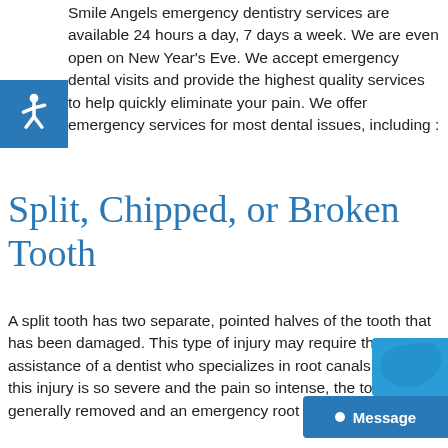Smile Angels emergency dentistry services are available 24 hours a day, 7 days a week. We are even open on New Year's Eve. We accept emergency dental visits and provide the highest quality services to help quickly eliminate your pain. We offer emergency services for most dental issues, including :
[Figure (illustration): Blue square with white wheelchair accessibility icon]
Split, Chipped, or Broken Tooth
A split tooth has two separate, pointed halves of the tooth that has been damaged. This type of injury may require the assistance of a dentist who specializes in root canals. Since this injury is so severe and the pain so intense, the tooth is generally removed and an emergency root canal performed.
[Figure (screenshot): Blue chat/message button widget in bottom right corner with Message label and dot icon]